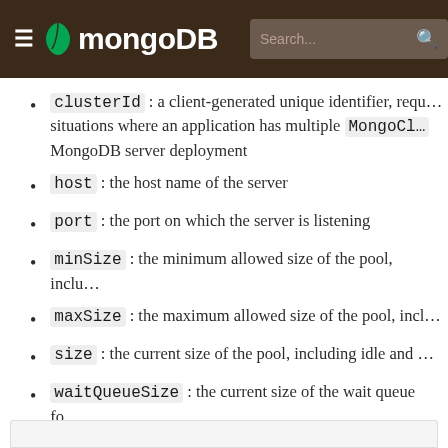MongoDB
clusterId : a client-generated unique identifier, required in situations where an application has multiple MongoCl… MongoDB server deployment
host : the host name of the server
port : the port on which the server is listening
minSize : the minimum allowed size of the pool, inclu…
maxSize : the maximum allowed size of the pool, incl…
size : the current size of the pool, including idle and …
waitQueueSize : the current size of the wait queue fo…
checkedOutCount : the current count of connections
JMX connection pool monitoring is disabled by default. To e…
com.mongodb.management.JMXConnectionPoolListener